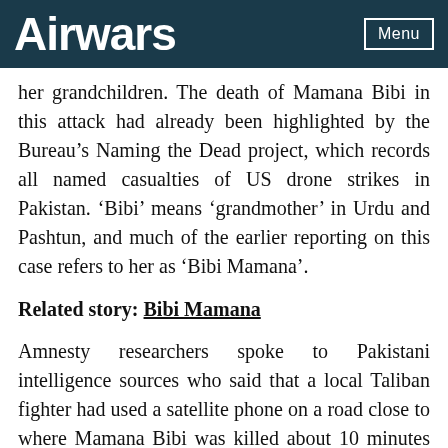Airwars | Menu
her grandchildren. The death of Mamana Bibi in this attack had already been highlighted by the Bureau’s Naming the Dead project, which records all named casualties of US drone strikes in Pakistan. ‘Bibi’ means ‘grandmother’ in Urdu and Pashtun, and much of the earlier reporting on this case refers to her as ‘Bibi Mamana’.
Related story: Bibi Mamana
Amnesty researchers spoke to Pakistani intelligence sources who said that a local Taliban fighter had used a satellite phone on a road close to where Mamana Bibi was killed about 10 minutes before the strike. The sources said they were not aware of the reason for the old women’s